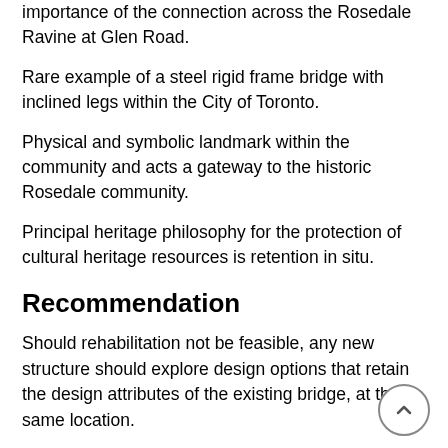importance of the connection across the Rosedale Ravine at Glen Road.
Rare example of a steel rigid frame bridge with inclined legs within the City of Toronto.
Physical and symbolic landmark within the community and acts a gateway to the historic Rosedale community.
Principal heritage philosophy for the protection of cultural heritage resources is retention in situ.
Recommendation
Should rehabilitation not be feasible, any new structure should explore design options that retain the design attributes of the existing bridge, at the same location.